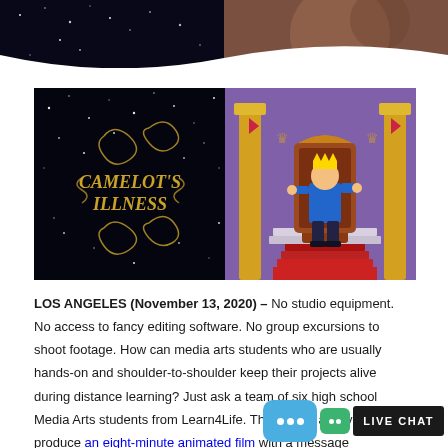[Figure (screenshot): Top banner showing two animation stills: left side dark starry background, right side showing brownish/maroon tones at the top of the page]
[Figure (screenshot): Two-panel image: left panel shows 'Camelot's Illness' title card with gold decorative font on black starry background; right panel shows cartoon king character sitting on throne with red carpet, in a colorful animated style]
LOS ANGELES (November 13, 2020) – No studio equipment. No access to fancy editing software. No group excursions to shoot footage. How can media arts students who are usually hands-on and shoulder-to-shoulder keep their projects alive during distance learning? Just ask a team of six high school Media Arts students from Learn4Life. They found a way to produce an eight-minute animated film with a message